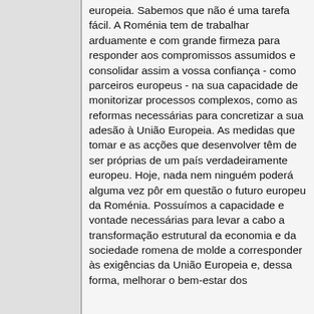europeia. Sabemos que não é uma tarefa fácil. A Roménia tem de trabalhar arduamente e com grande firmeza para responder aos compromissos assumidos e consolidar assim a vossa confiança - como parceiros europeus - na sua capacidade de monitorizar processos complexos, como as reformas necessárias para concretizar a sua adesão à União Europeia. As medidas que tomar e as acções que desenvolver têm de ser próprias de um país verdadeiramente europeu. Hoje, nada nem ninguém poderá alguma vez pôr em questão o futuro europeu da Roménia. Possuímos a capacidade e vontade necessárias para levar a cabo a transformação estrutural da economia e da sociedade romena de molde a corresponder às exigências da União Europeia e, dessa forma, melhorar o bem-estar dos